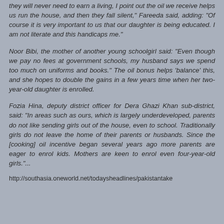they will never need to earn a living, I point out the oil we receive helps us run the house, and then they fall silent," Fareeda said, adding: "Of course it is very important to us that our daughter is being educated. I am not literate and this handicaps me."
Noor Bibi, the mother of another young schoolgirl said: "Even though we pay no fees at government schools, my husband says we spend too much on uniforms and books." The oil bonus helps 'balance' this, and she hopes to double the gains in a few years time when her two-year-old daughter is enrolled.
Fozia Hina, deputy district officer for Dera Ghazi Khan sub-district, said: "In areas such as ours, which is largely underdeveloped, parents do not like sending girls out of the house, even to school. Traditionally girls do not leave the home of their parents or husbands. Since the [cooking] oil incentive began several years ago more parents are eager to enrol kids. Mothers are keen to enrol even four-year-old girls."...
http://southasia.oneworld.net/todaysheadlines/pakistantake